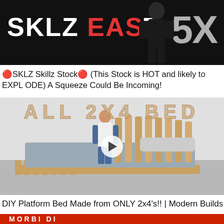[Figure (screenshot): Video thumbnail with black background showing 'SKLZ EASY' text in white/red and '5X' in large grey letters, person visible on right side]
🔴SKLZ Skillz Stock🔴 (This Stock is HOT and likely to EXPLODE) A Squeeze Could Be Incoming!
[Figure (screenshot): Video thumbnail showing 'ALL 2X4 BED' text overlay on image of a DIY platform bed made from 2x4 lumber, man standing next to bed, play button visible]
DIY Platform Bed Made from ONLY 2x4's!! | Modern Builds
[Figure (screenshot): Partial video thumbnail with red background, partially visible]